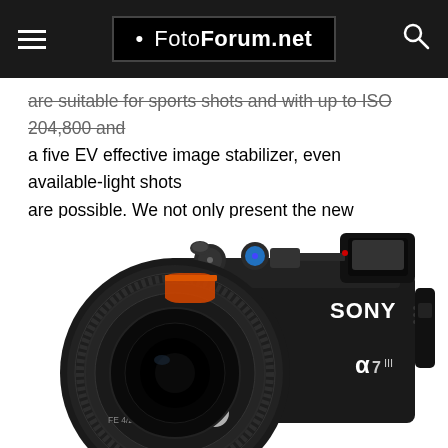• FotoForum.net
are suitable for sports shots and with up to ISO 204,800 and a five EV effective image stabilizer, even available-light shots are possible. We not only present the new mirrorless system camera, but also describe our first impression.
[Figure (photo): Sony Alpha 7 III mirrorless camera with FE 4/24-105 G OSS lens, front-angled view showing SONY branding, alpha 7 III logo, and orange lens ring detail]